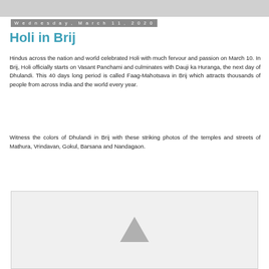Wednesday, March 11, 2020
Holi in Brij
Hindus across the nation and world celebrated Holi with much fervour and passion on March 10. In Brij, Holi officially starts on Vasant Panchami and culminates with Dauji ka Huranga, the next day of Dhulandi. This 40 days long period is called Faag-Mahotsava in Brij which attracts thousands of people from across India and the world every year.
Witness the colors of Dhulandi in Brij with these striking photos of the temples and streets of Mathura, Vrindavan, Gokul, Barsana and Nandagaon.
[Figure (photo): Placeholder image with a grey triangle icon, representing a photo to be loaded]